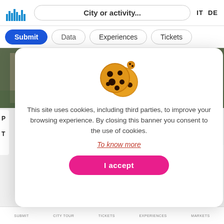[Figure (screenshot): Website header with logo, search box reading 'City or activity...' and language toggles IT DE]
[Figure (screenshot): Navigation bar with buttons: Submit (blue filled), Data, Experiences, Tickets]
[Figure (photo): Hero image of Palazzo Rotingo building with green shutters]
Palazzo Rotingo
[Figure (screenshot): Cookie consent modal with cookie emoji, text about cookies, 'To know more' link, and 'I accept' button]
This site uses cookies, including third parties, to improve your browsing experience. By closing this banner you consent to the use of cookies.
To know more
I accept
SUBMIT      CITY TOUR      TICKETS      EXPERIENCES      MARKETS